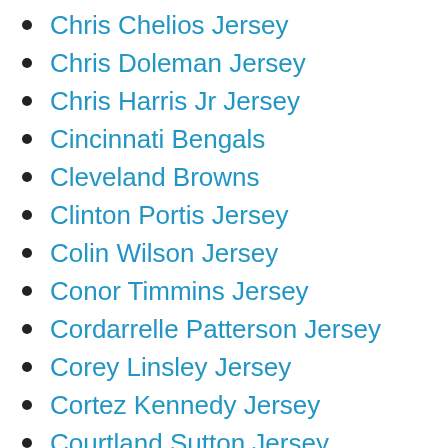Chris Chelios Jersey
Chris Doleman Jersey
Chris Harris Jr Jersey
Cincinnati Bengals
Cleveland Browns
Clinton Portis Jersey
Colin Wilson Jersey
Conor Timmins Jersey
Cordarrelle Patterson Jersey
Corey Linsley Jersey
Cortez Kennedy Jersey
Courtland Sutton Jersey
Da'Norris Searcy Jersey
Dallas Cowboys Jersey
Dan Hamhuis Jersey
Dan Vogelbach Jersey